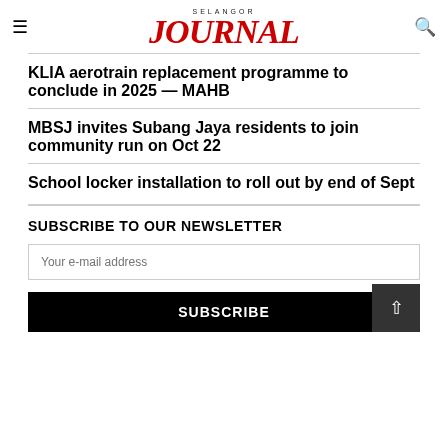SELANGOR JOURNAL
KLIA aerotrain replacement programme to conclude in 2025 — MAHB
MBSJ invites Subang Jaya residents to join community run on Oct 22
School locker installation to roll out by end of Sept
SUBSCRIBE TO OUR NEWSLETTER
Your e-mail address
SUBSCRIBE